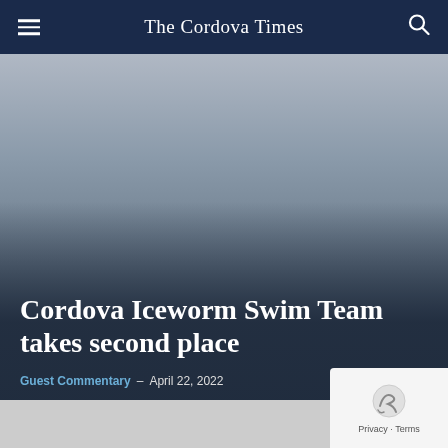The Cordova Times
[Figure (photo): Hero image with gradient overlay, showing a muted gray-blue background transitioning to dark navy at the bottom, representing a news article header image.]
Cordova Iceworm Swim Team takes second place
Guest Commentary - April 22, 2022